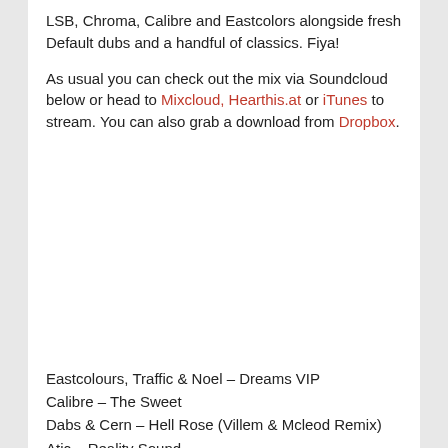LSB, Chroma, Calibre and Eastcolors alongside fresh Default dubs and a handful of classics. Fiya!
As usual you can check out the mix via Soundcloud below or head to Mixcloud, Hearthis.at or iTunes to stream. You can also grab a download from Dropbox.
Eastcolours, Traffic & Noel – Dreams VIP
Calibre – The Sweet
Dabs & Cern – Hell Rose (Villem & Mcleod Remix)
Atic – Reality Sound
LSB – Snap Funk
L-Side – Starways